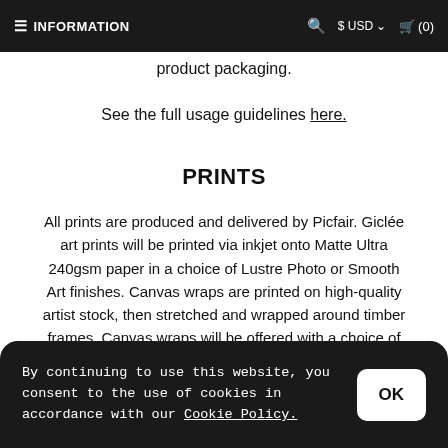≡ INFORMATION   🔍  $ USD ▾   🛒 (0)
product packaging.
See the full usage guidelines here.
PRINTS
All prints are produced and delivered by Picfair. Giclée art prints will be printed via inkjet onto Matte Ultra 240gsm paper in a choice of Lustre Photo or Smooth Art finishes. Canvas wraps are printed on high-quality artist stock, then stretched and wrapped around timber frames. Canvas wraps will be offered with a choice of black or white wrapped edges. Framed prints
By continuing to use this website, you consent to the use of cookies in accordance with our Cookie Policy.